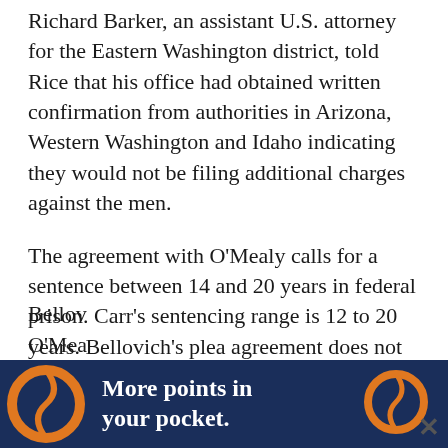Richard Barker, an assistant U.S. attorney for the Eastern Washington district, told Rice that his office had obtained written confirmation from authorities in Arizona, Western Washington and Idaho indicating they would not be filing additional charges against the men.
The agreement with O'Mealy calls for a sentence between 14 and 20 years in federal prison. Carr's sentencing range is 12 to 20 years. Bellovich's plea agreement does not call for a specific term of imprisonment.
In addition to drugs and firearms, the government also asked to seize any funds in accounts held with the Robinhood Financial company.
Bellov... O'Mea...
[Figure (infographic): Advertisement banner: dark blue background with orange decorative icons on left and right, bold white text reading 'More points in your pocket.' A close button (×) appears in the bottom right corner.]